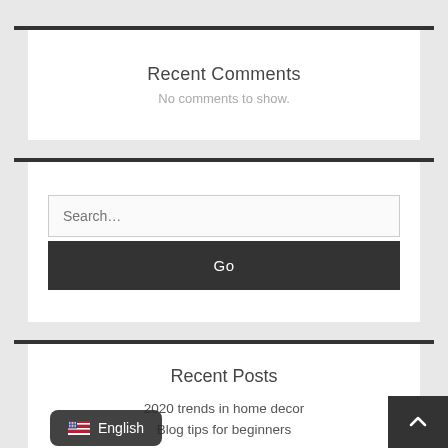Recent Comments
No comments to show.
[Figure (screenshot): Search input box with placeholder text 'Search...' and a dark 'Go' button below it]
Recent Posts
2020 trends in home decor
Blog tips for beginners
English